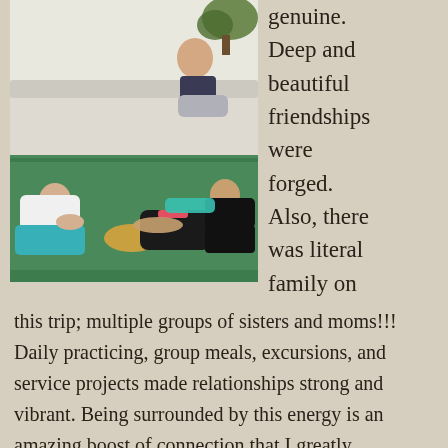[Figure (photo): Women doing yoga/stretching exercises lying on mats on the floor, with another woman sitting on a couch in the background in a bright room with plants.]
genuine. Deep and beautiful friendships were forged. Also, there was literal family on this trip; multiple groups of sisters and moms!!! Daily practicing, group meals, excursions, and service projects made relationships strong and vibrant. Being surrounded by this energy is an amazing boost of connection that I greatly appreciated. Lauren and Kelly did an amazing job fostering these relationships and allowed a space for new friendships to blossom and past...